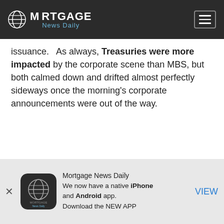Mortgage News Daily
issuance. As always, Treasuries were more impacted by the corporate scene than MBS, but both calmed down and drifted almost perfectly sideways once the morning's corporate announcements were out of the way.
Download our mobile app to get alerts for MBS Commentary and
Mortgage News Daily
We now have a native iPhone and Android app.
Download the NEW APP
VIEW